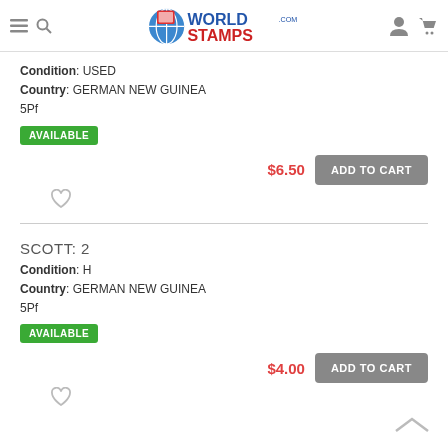WorldStamps.com
Condition: USED
Country: GERMAN NEW GUINEA
5Pf
AVAILABLE
$6.50
ADD TO CART
SCOTT: 2
Condition: H
Country: GERMAN NEW GUINEA
5Pf
AVAILABLE
$4.00
ADD TO CART